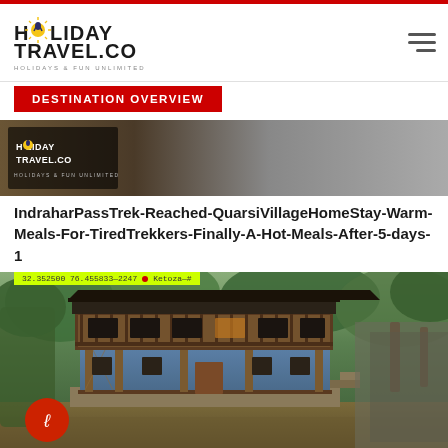HOLIDAY TRAVEL.CO — HOLIDAYS & FUN UNLIMITED
DESTINATION OVERVIEW
[Figure (photo): Top photo showing dark background with HolidayTravel.co overlay logo]
IndraharPassTrek-Reached-QuarsiVillageHomeStay-Warm-Meals-For-TiredTrekkers-Finally-A-Hot-Meals-After-5-days-1
[Figure (photo): GPS tagged photo of a traditional two-storey wooden Himachali village homestay building with blue lower walls and wooden balconies, surrounded by trees. GPS coordinates: 32.352500 76.455833—2247. Red circle icon overlay at bottom left.]